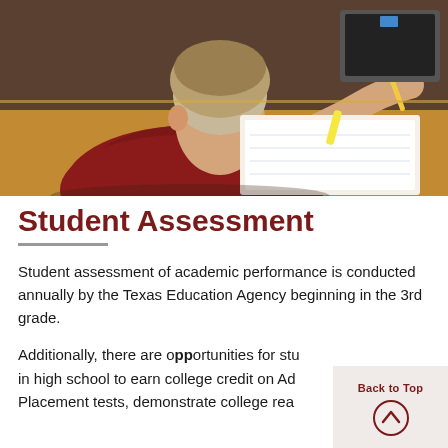[Figure (photo): A young boy in a dark red t-shirt viewed from behind, writing in a notebook at a school desk. A laptop and other school supplies are visible on the desk.]
Student Assessment
Student assessment of academic performance is conducted annually by the Texas Education Agency beginning in the 3rd grade.
Additionally, there are opportunities for students in high school to earn college credit on Advanced Placement tests, demonstrate college rea...